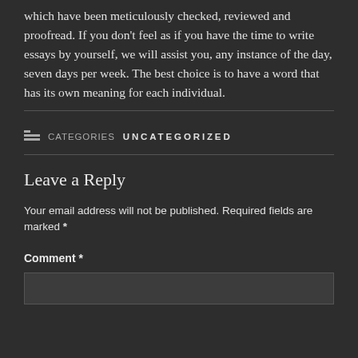which have been meticulously checked, reviewed and proofread. If you don't feel as if you have the time to write essays by yourself, we will assist you, any instance of the day, seven days per week. The best choice is to have a word that has its own meaning for each individual.
CATEGORIES UNCATEGORIZED
Leave a Reply
Your email address will not be published. Required fields are marked *
Comment *